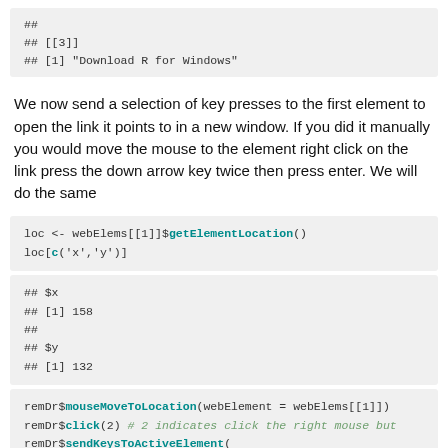[Figure (screenshot): Code output block showing ## [[3]] and ## [1] "Download R for Windows"]
We now send a selection of key presses to the first element to open the link it points to in a new window. If you did it manually you would move the mouse to the element right click on the link press the down arrow key twice then press enter. We will do the same
[Figure (screenshot): R code block: loc <- webElems[[1]]$getElementLocation() and loc[c('x','y')]]
[Figure (screenshot): Code output block showing ## $x, ## [1] 158, ##, ## $y, ## [1] 132]
[Figure (screenshot): R code block: remDr$mouseMoveToLocation(webElement = webElems[[1]]), remDr$click(2) # 2 indicates click the right mouse but, remDr$sendKeysToActiveElement(, list(key = down_arrow, key = down_arrow, key ...]